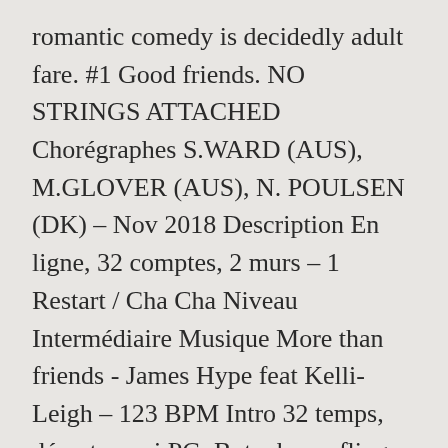romantic comedy is decidedly adult fare. #1 Good friends. NO STRINGS ATTACHED Chorégraphes S.WARD (AUS), M.GLOVER (AUS), N. POULSEN (DK) – Nov 2018 Description En ligne, 32 comptes, 2 murs – 1 Restart / Cha Cha Niveau Intermédiaire Musique More than friends - James Hype feat Kelli-Leigh – 123 BPM Intro 32 temps, départ appui PG. But when a fling becomes a thing, can sex friends stay best friends? Scenery has been created under the direction of Mettawee's art teacher Amy Helmetag, with parents and students pitching in. If you're in an NSA relationship with someone, it isn't cheating if he or she sleeps with someone else. {% extends variable %} uses the value of variable.If the variable